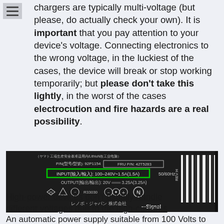chargers are typically multi-voltage (but please, do actually check your own). It is important that you pay attention to your device's voltage. Connecting electronics to the wrong voltage, in the luckiest of the cases, the device will break or stop working temporarily; but please don't take this lightly, in the worst of the cases electrocution and fire hazards are a real possibility.
[Figure (photo): A photo of a Lenovo laptop power adapter label showing P/N: 92P1154, FRU P/N: 42T5283, INPUT: 100-240V~1.5A(1.5A) 50/60Hz highlighted in a green box, OUTPUT: 20V=== 3.25A(3.25A), safety symbols, R33030, Japanese text (レノボ・ジャパン 株式会社), Signal text, and a barcode with REV:H label.]
An automatic power supply suitable from 100 Volts to 240 Volts.
High-power devices don't usually handle different voltages due to the high-currents